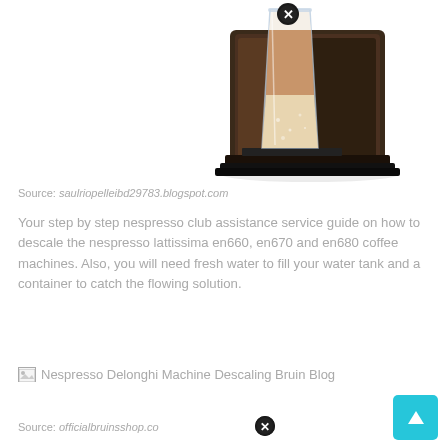[Figure (photo): Nespresso Lattissima coffee machine with a latte glass on top, dark brown/black color, white background. A close button (X circle) overlays the top of the image.]
Source: saulriopelleibd29783.blogspot.com
Your step by step nespresso club assistance service guide on how to descale the nespresso lattissima en660, en670 and en680 coffee machines. Also, you will need fresh water to fill your water tank and a container to catch the flowing solution.
[Figure (photo): Broken image placeholder for Nespresso Delonghi Machine Descaling Bruin Blog]
Source: officialbruinsshop.co